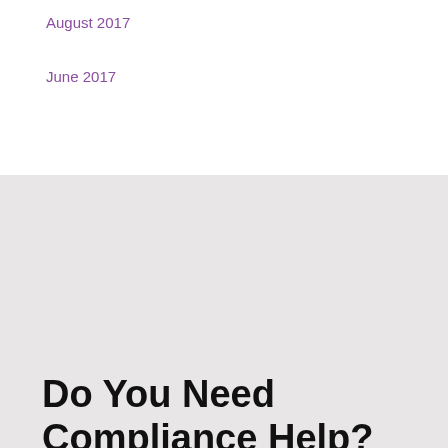August 2017
June 2017
Do You Need Compliance Help?
We're here to review your current compliance strategy and help you find A Better Way to manage risk.
Phone